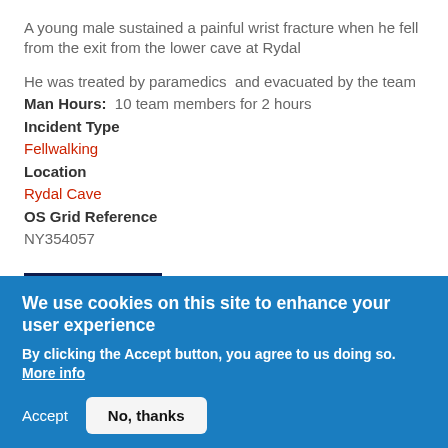A young male sustained a painful wrist fracture when he fell from the exit from the lower cave at Rydal
He was treated by paramedics  and evacuated by the team
Man Hours:  10 team members for 2 hours
Incident Type
Fellwalking
Location
Rydal Cave
OS Grid Reference
NY354057
Read more
We use cookies on this site to enhance your user experience
By clicking the Accept button, you agree to us doing so. More info
Accept  No, thanks